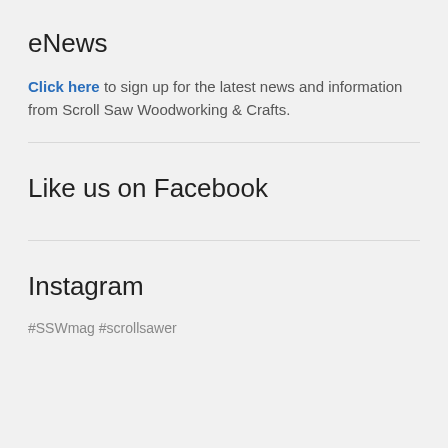eNews
Click here to sign up for the latest news and information from Scroll Saw Woodworking & Crafts.
Like us on Facebook
Instagram
#SSWmag #scrollsawer